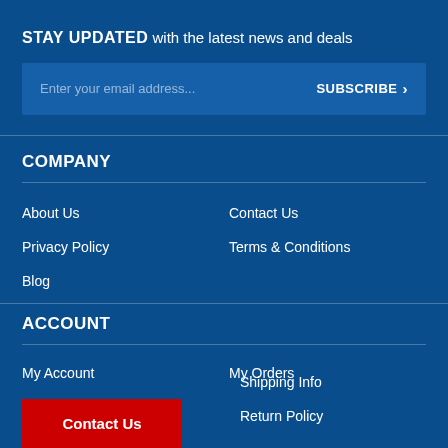STAY UPDATED with the latest news and deals
Enter your email address... SUBSCRIBE >
COMPANY
About Us
Contact Us
Privacy Policy
Terms & Conditions
Blog
ACCOUNT
My Account
My Orders
Contact Us
Shipping Info
Return Policy